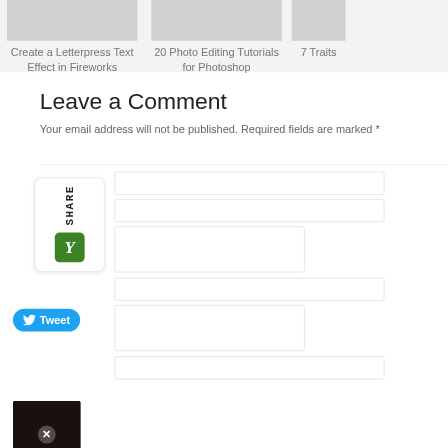[Figure (screenshot): Top navigation strip with article thumbnails: 'Create a Letterpress Text Effect in Fireworks', '20 Photo Editing Tutorials for Photoshop', '7 Traits' (partially visible)]
Leave a Comment
Your email address will not be published. Required fields are marked *
[Figure (infographic): Share widget panel with vertical 'SHARE' label and Yummly (Y) green button]
[Figure (screenshot): Blue Twitter Tweet button with bird icon]
[Figure (screenshot): Comment form input fields (partially visible)]
[Figure (photo): Small dark photo thumbnail with X close button overlay]